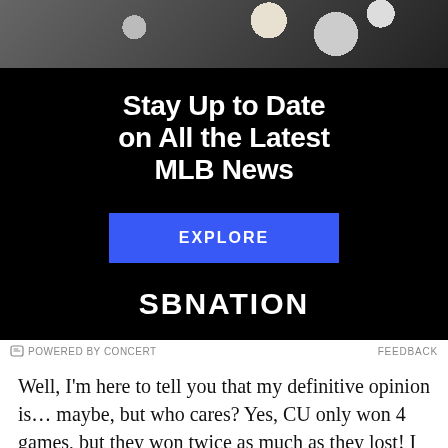[Figure (infographic): SBNation advertisement banner with baseball image at top, dark background, headline 'Stay Up to Date on All the Latest MLB News', blue Explore button, and SBNATION logo]
POWERED BY CONCERT   FEEDBACK
Well, I'm here to tell you that my definitive opinion is… maybe, but who cares? Yes, CU only won 4 games, but they won twice as much as they lost! I won't put the asterisk next to that Alamo Bowl if you won't. In the